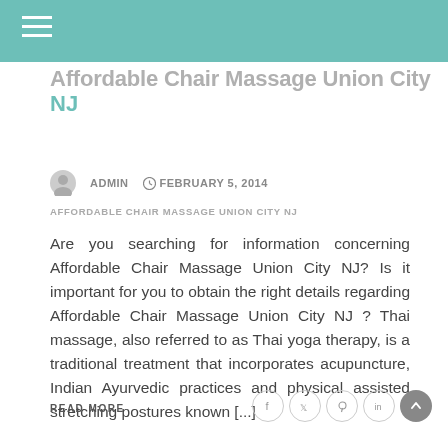Affordable Chair Massage Union City NJ
ADMIN   FEBRUARY 5, 2014
AFFORDABLE CHAIR MASSAGE UNION CITY NJ
Are you searching for information concerning Affordable Chair Massage Union City NJ? Is it important for you to obtain the right details regarding Affordable Chair Massage Union City NJ ? Thai massage, also referred to as Thai yoga therapy, is a traditional treatment that incorporates acupuncture, Indian Ayurvedic practices and physical assisted stretching postures known [...]
READ MORE